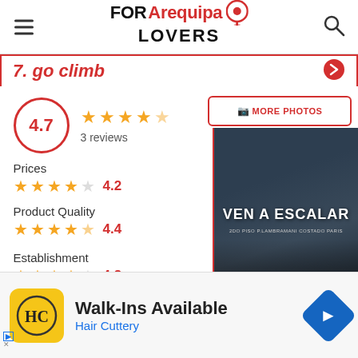FOR Arequipa LOVERS
7. go climb
4.7  ★★★★☆  3 reviews
Prices  ★★★★☆  4.2
Product Quality  ★★★★½  4.4
Establishment  ★★★★☆  4.2
stomer service
[Figure (photo): Photo of climbing gym (go climb) with text VEN A ESCALAR, 2DO PISO P.LAMBRAMANI COSTADO PARIS]
[Figure (screenshot): Ad banner: Walk-Ins Available - Hair Cuttery with HC logo and navigation icon]